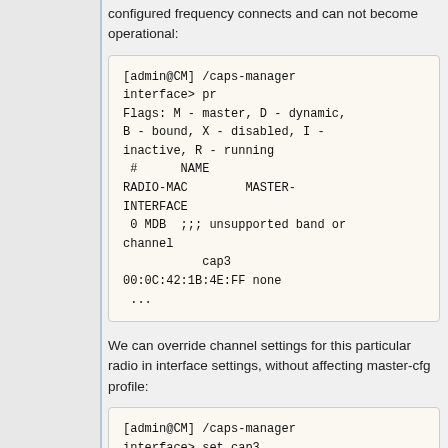configured frequency connects and can not become operational:
[Figure (screenshot): Terminal code block showing caps-manager interface print output with flags, radio-mac, master-interface columns and entry for cap3 with unsupported band or channel]
We can override channel settings for this particular radio in interface settings, without affecting master-cfg profile:
[Figure (screenshot): Terminal code block showing caps-manager interface set cap3 channel.frequency=2142 channel.band=2ghz-b/g]